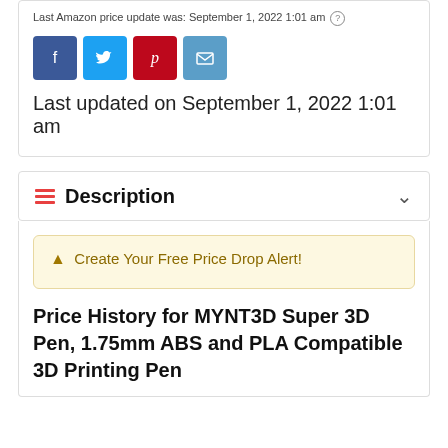Last Amazon price update was: September 1, 2022 1:01 am
[Figure (other): Social sharing buttons: Facebook (blue), Twitter (light blue), Pinterest (red), Email (blue)]
Last updated on September 1, 2022 1:01 am
Description
Create Your Free Price Drop Alert!
Price History for MYNT3D Super 3D Pen, 1.75mm ABS and PLA Compatible 3D Printing Pen